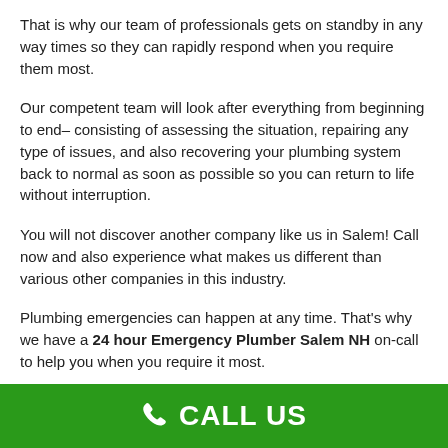That is why our team of professionals gets on standby in any way times so they can rapidly respond when you require them most.
Our competent team will look after everything from beginning to end– consisting of assessing the situation, repairing any type of issues, and also recovering your plumbing system back to normal as soon as possible so you can return to life without interruption.
You will not discover another company like us in Salem! Call now and also experience what makes us different than various other companies in this industry.
Plumbing emergencies can happen at any time. That's why we have a 24 hour Emergency Plumber Salem NH on-call to help you when you require it most.
We will certainly appear and also assess the circumstance, immediately repair the problem, and also get your plumbing system back...
CALL US